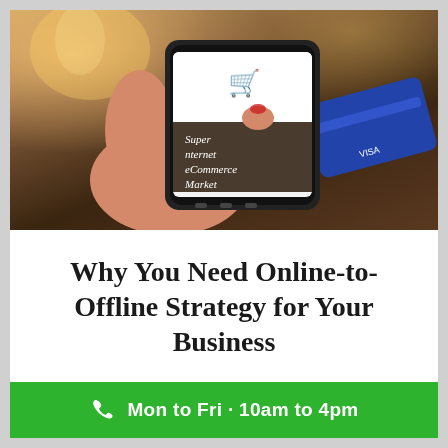[Figure (photo): A hand holding a smartphone displaying an eCommerce website with shopping cart icon, with another hand holding a blue credit card in the background, candles visible in the blurred background.]
Why You Need Online-to-Offline Strategy for Your Business
Mon to Fri · 10am to 4pm